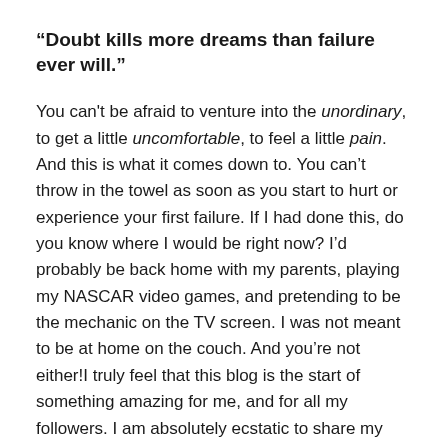“Doubt kills more dreams than failure ever will.”
You can’t be afraid to venture into the unordinary, to get a little uncomfortable, to feel a little pain. And this is what it comes down to. You can’t throw in the towel as soon as you start to hurt or experience your first failure. If I had done this, do you know where I would be right now? I’d probably be back home with my parents, playing my NASCAR video games, and pretending to be the mechanic on the TV screen. I was not meant to be at home on the couch. And you’re not either!I truly feel that this blog is the start of something amazing for me, and for all my followers. I am absolutely ecstatic to share my experiences with you about my previous internship at Larsen Motorsports, my experiences at Embry-Riddle, as well as my summer internship with NASCAR. I can only hope that I inspire you all to go after what you love.I know I sure did and I don’t regret a single step of my